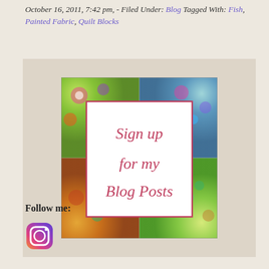October 16, 2011, 7:42 pm, - Filed Under: Blog Tagged With: Fish, Painted Fabric, Quilt Blocks
[Figure (illustration): A colorful quilted fabric background with embroidered flowers and patterns in greens, yellows, oranges, blues, and purples. Overlaid is a white square with a pink/red border containing the italic red text: 'Sign up for my Blog Posts']
Follow me:
[Figure (logo): Instagram logo icon — rounded square with gradient colors (purple/pink/orange)]